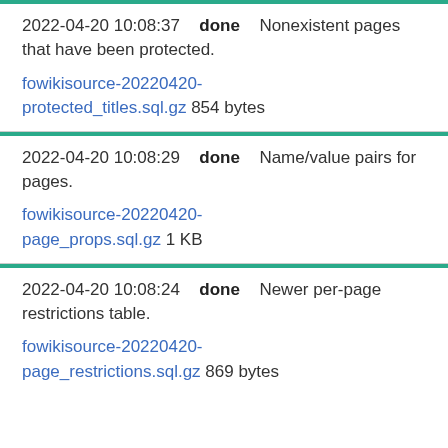2022-04-20 10:08:37  done  Nonexistent pages that have been protected.
fowikisource-20220420-protected_titles.sql.gz 854 bytes
2022-04-20 10:08:29  done  Name/value pairs for pages.
fowikisource-20220420-page_props.sql.gz 1 KB
2022-04-20 10:08:24  done  Newer per-page restrictions table.
fowikisource-20220420-page_restrictions.sql.gz 869 bytes